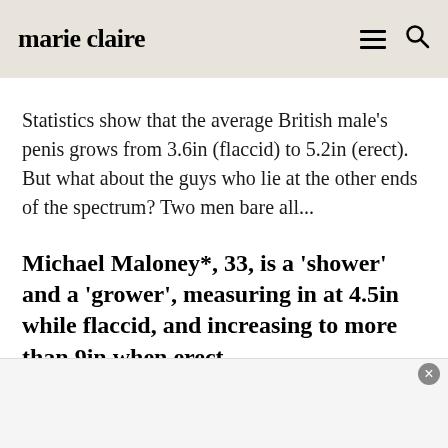marie claire
Statistics show that the average British male's penis grows from 3.6in (flaccid) to 5.2in (erect). But what about the guys who lie at the other ends of the spectrum? Two men bare all...
Michael Maloney*, 33, is a 'shower' and a 'grower', measuring in at 4.5in while flaccid, and increasing to more than 9in when erect.